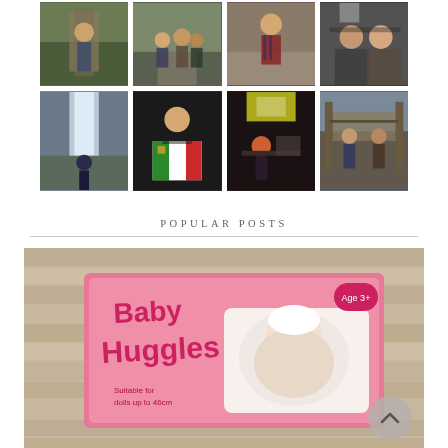[Figure (photo): 4x2 grid of Instagram-style photos showing children and adults outdoors, at a waterfall, holding artwork, in a restaurant/cafe, and at wooden structure/treehouse]
POPULAR POSTS
[Figure (photo): Baby Huggles doll product box on wooden surface, pink packaging showing baby doll, Age 3+ label visible, text reads 'dolls up to 46cm']